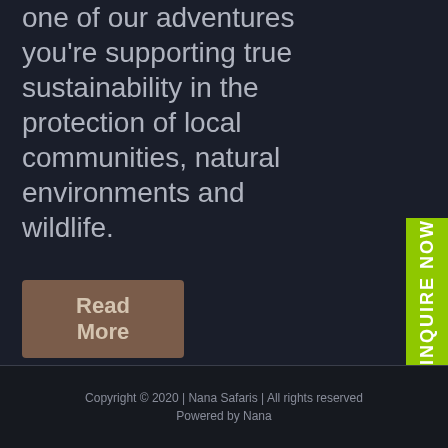one of our adventures you're supporting true sustainability in the protection of local communities, natural environments and wildlife.
Read More
INQUIRE NOW
Copyright © 2020 | Nana Safaris | All rights reserved
Powered by Nana